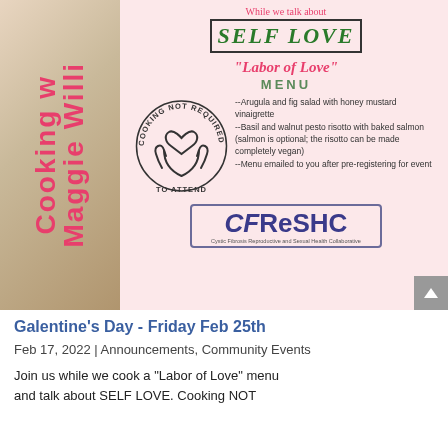[Figure (infographic): Event flyer for 'Labor of Love' menu event by CFReSHC, featuring a book spine with 'Cooking with Maggie Willi' text, SELF LOVE header in a box, Labor of Love menu title, cooking not required badge, menu items list, and CFReSHC logo.]
Galentine's Day - Friday Feb 25th
Feb 17, 2022 | Announcements, Community Events
Join us while we cook a "Labor of Love" menu and talk about SELF LOVE. Cooking NOT